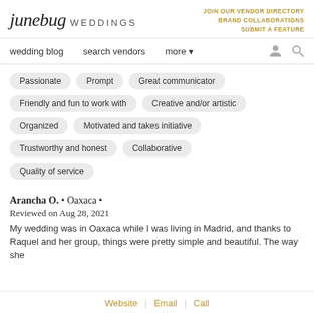junebug WEDDINGS | JOIN OUR VENDOR DIRECTORY BRAND COLLABORATIONS SUBMIT A FEATURE
wedding blog   search vendors   more
Passionate
Prompt
Great communicator
Friendly and fun to work with
Creative and/or artistic
Organized
Motivated and takes initiative
Trustworthy and honest
Collaborative
Quality of service
Arancha O. • Oaxaca •
Reviewed on Aug 28, 2021
My wedding was in Oaxaca while I was living in Madrid, and thanks to Raquel and her group, things were pretty simple and beautiful. The way she
Website | Email | Call